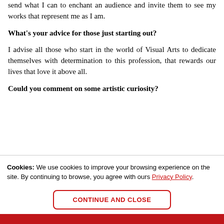send what I can to enchant an audience and invite them to see my works that represent me as I am.
What's your advice for those just starting out?
I advise all those who start in the world of Visual Arts to dedicate themselves with determination to this profession, that rewards our lives that love it above all.
Could you comment on some artistic curiosity?
Cookies: We use cookies to improve your browsing experience on the site. By continuing to browse, you agree with ours Privacy Policy.
CONTINUE AND CLOSE